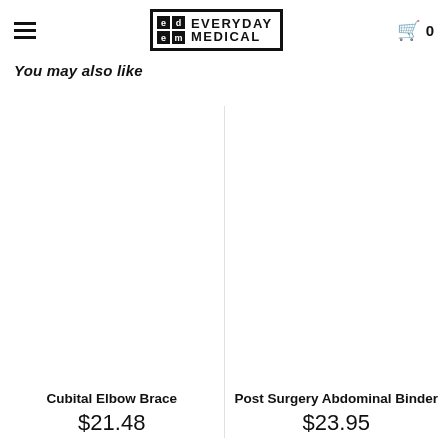EVERYDAY MEDICAL
You may also like
Cubital Elbow Brace $21.48
Post Surgery Abdominal Binder $23.95